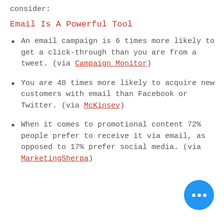consider:
Email Is A Powerful Tool
An email campaign is 6 times more likely to get a click-through than you are from a tweet. (via Campaign Monitor)
You are 40 times more likely to acquire new customers with email than Facebook or Twitter. (via McKinsey)
When it comes to promotional content 72% people prefer to receive it via email, as opposed to 17% prefer social media. (via MarketingSherpa)